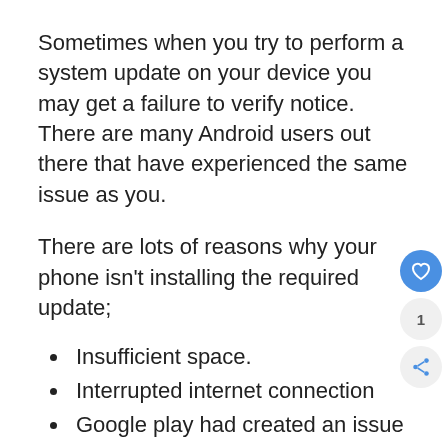Sometimes when you try to perform a system update on your device you may get a failure to verify notice. There are many Android users out there that have experienced the same issue as you.
There are lots of reasons why your phone isn't installing the required update;
Insufficient space.
Interrupted internet connection
Google play had created an issue
Your device may not be compatible with the new update.